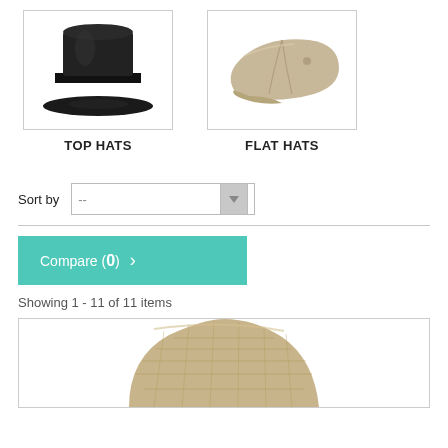[Figure (photo): Black top hat product photo in a bordered box]
TOP HATS
[Figure (photo): Beige/tan flat cap (newsboy/baker boy hat) product photo in a bordered box]
FLAT HATS
Sort by  --
Compare ( 0 ) >
Showing 1 - 11 of 11 items
[Figure (photo): Beige/tan woven straw flat cap product photo partially visible at bottom of page]